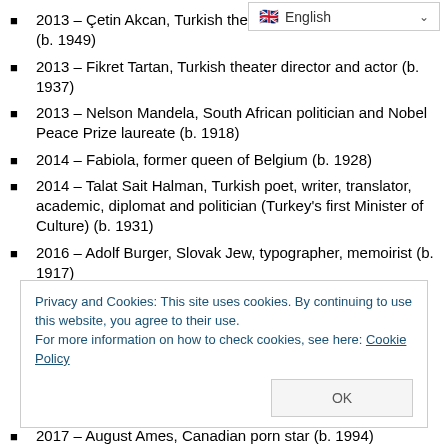2013 – Çetin Akcan, Turkish theater director and lyricist (b. 1949)
2013 – Fikret Tartan, Turkish theater director and actor (b. 1937)
2013 – Nelson Mandela, South African politician and Nobel Peace Prize laureate (b. 1918)
2014 – Fabiola, former queen of Belgium (b. 1928)
2014 – Talat Sait Halman, Turkish poet, writer, translator, academic, diplomat and politician (Turkey's first Minister of Culture) (b. 1931)
2016 – Adolf Burger, Slovak Jew, typographer, memoirist (b. 1917)
Privacy and Cookies: This site uses cookies. By continuing to use this website, you agree to their use. For more information on how to check cookies, see here: Cookie Policy
2017 – August Ames, Canadian porn star (b. 1994)